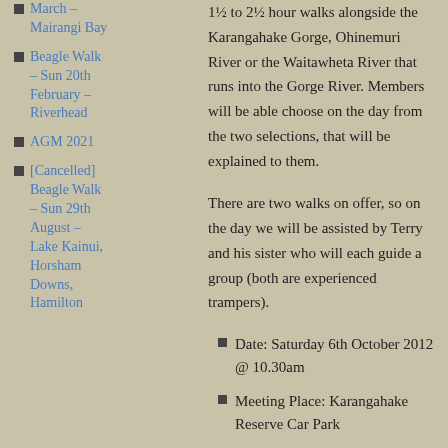March – Mairangi Bay
Beagle Walk – Sun 20th February – Riverhead
AGM 2021
[Cancelled] Beagle Walk – Sun 29th August – Lake Kainui, Horsham Downs, Hamilton
1½ to 2½ hour walks alongside the Karangahake Gorge, Ohinemuri River or the Waitawheta River that runs into the Gorge River. Members will be able choose on the day from the two selections, that will be explained to them.
There are two walks on offer, so on the day we will be assisted by Terry and his sister who will each guide a group (both are experienced trampers).
Date: Saturday 6th October 2012 @ 10.30am
Meeting Place: Karangahake Reserve Car Park
Route: Find your way to